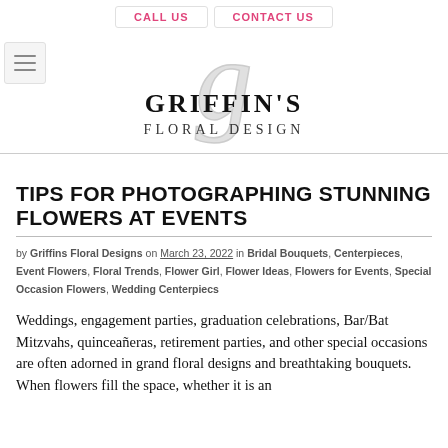CALL US   CONTACT US
[Figure (logo): Griffin's Floral Design logo with stylized script G and serif text]
TIPS FOR PHOTOGRAPHING STUNNING FLOWERS AT EVENTS
by Griffins Floral Designs on March 23, 2022 in Bridal Bouquets, Centerpieces, Event Flowers, Floral Trends, Flower Girl, Flower Ideas, Flowers for Events, Special Occasion Flowers, Wedding Centerpiecs
Weddings, engagement parties, graduation celebrations, Bar/Bat Mitzvahs, quinceañeras, retirement parties, and other special occasions are often adorned in grand floral designs and breathtaking bouquets. When flowers fill the space, whether it is an